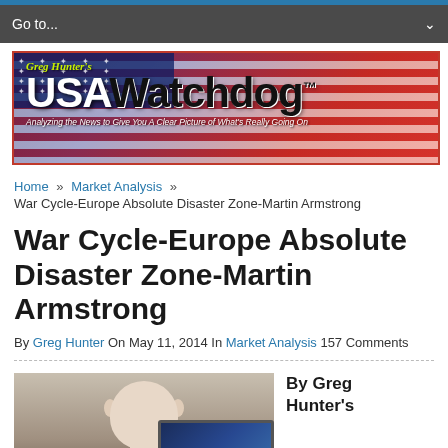Go to...
[Figure (logo): Greg Hunter's USAWatchdog banner with American flag background. Tagline: Analyzing the News to Give You A Clear Picture of What's Really Going On]
Home » Market Analysis » War Cycle-Europe Absolute Disaster Zone-Martin Armstrong
War Cycle-Europe Absolute Disaster Zone-Martin Armstrong
By Greg Hunter On May 11, 2014 In Market Analysis 157 Comments
[Figure (photo): Photo of a bald man in front of a computer screen]
By Greg Hunter's